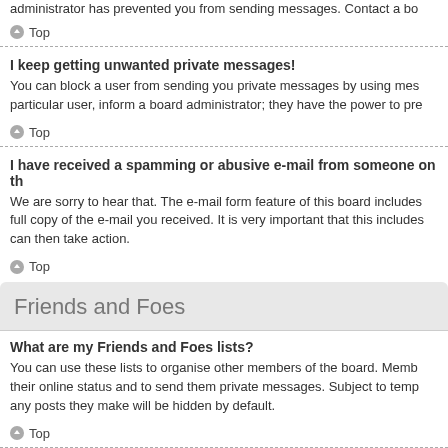administrator has prevented you from sending messages. Contact a bo
Top
I keep getting unwanted private messages!
You can block a user from sending you private messages by using mes particular user, inform a board administrator; they have the power to pre
Top
I have received a spamming or abusive e-mail from someone on th
We are sorry to hear that. The e-mail form feature of this board includes full copy of the e-mail you received. It is very important that this includes can then take action.
Top
Friends and Foes
What are my Friends and Foes lists?
You can use these lists to organise other members of the board. Memb their online status and to send them private messages. Subject to temp any posts they make will be hidden by default.
Top
How can I add / remove users to my Friends or Foes list?